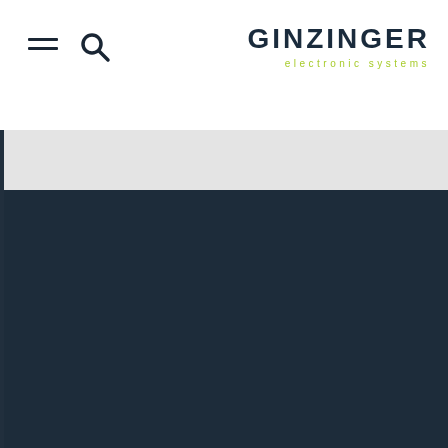GINZINGER electronic systems
[Figure (screenshot): Dark navy blue background section below a light gray band, forming the lower portion of a website layout]